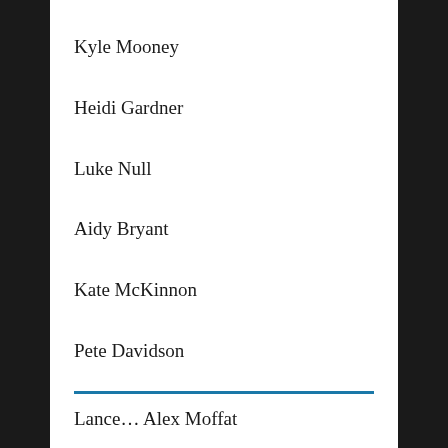Kyle Mooney
Heidi Gardner
Luke Null
Aidy Bryant
Kate McKinnon
Pete Davidson
Lance… Alex Moffat
Principal Anderson – Leslie Jones